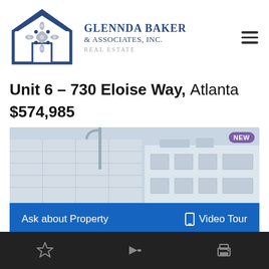[Figure (logo): Glennda Baker & Associates, Inc. Real Estate logo with decorative house and fleur-de-lis motif in blue and grey, and a hamburger menu icon]
Unit 6 – 730 Eloise Way, Atlanta $574,985
[Figure (photo): Exterior photograph of a modern multi-story building with glass facade, with a NEW badge in purple]
Ask about Property   Video Tour
[Figure (infographic): Dark bottom navigation bar with star, share arrow, and print icons in grey]